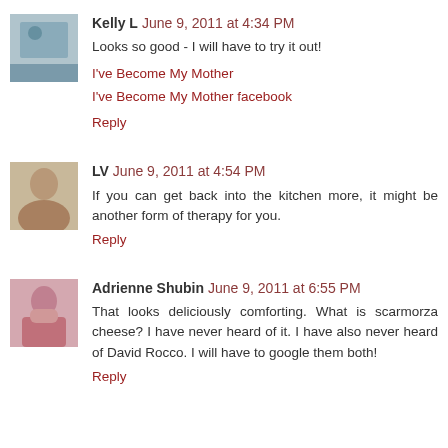Kelly L  June 9, 2011 at 4:34 PM
Looks so good - I will have to try it out!
I've Become My Mother
I've Become My Mother facebook
Reply
LV  June 9, 2011 at 4:54 PM
If you can get back into the kitchen more, it might be another form of therapy for you.
Reply
Adrienne Shubin  June 9, 2011 at 6:55 PM
That looks deliciously comforting. What is scarmorza cheese? I have never heard of it. I have also never heard of David Rocco. I will have to google them both!
Reply